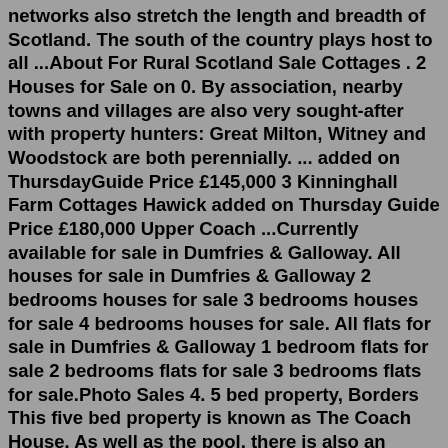networks also stretch the length and breadth of Scotland. The south of the country plays host to all ...About For Rural Scotland Sale Cottages . 2 Houses for Sale on 0. By association, nearby towns and villages are also very sought-after with property hunters: Great Milton, Witney and Woodstock are both perennially. ... added on ThursdayGuide Price £145,000 3 Kinninghall Farm Cottages Hawick added on Thursday Guide Price £180,000 Upper Coach ...Currently available for sale in Dumfries & Galloway. All houses for sale in Dumfries & Galloway 2 bedrooms houses for sale 3 bedrooms houses for sale 4 bedrooms houses for sale. All flats for sale in Dumfries & Galloway 1 bedroom flats for sale 2 bedrooms flats for sale 3 bedrooms flats for sale.Photo Sales 4. 5 bed property, Borders This five bed property is known as The Coach House. As well as the pool, there is also an indoor hot tub, sauna/steam room and a wet shower room as well....Cloncaird Castle Cottages. These luxurious cottages are set in the grounds of Cloncaird Castle in beautiful Ayrshi...